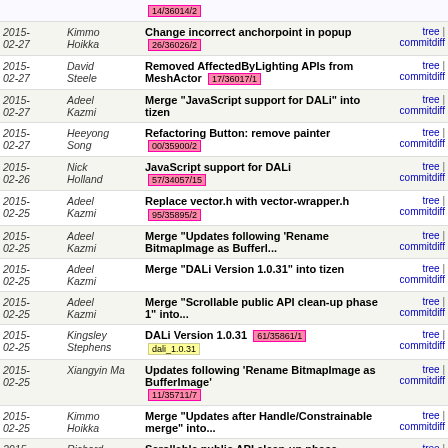| Date | Author | Commit message | Links |
| --- | --- | --- | --- |
|  |  | 14/36014/2 |  |
| 2015-02-27 | Kimmo Hoikka | Change incorrect anchorpoint in popup 26/36026/2 | tree | commitdiff |
| 2015-02-27 | David Steele | Removed AffectedByLighting APIs from MeshActor 17/36017/1 | tree | commitdiff |
| 2015-02-27 | Adeel Kazmi | Merge "JavaScript support for DALi" into tizen | tree | commitdiff |
| 2015-02-27 | Heeyong Song | Refactoring Button: remove painter 00/35900/2 | tree | commitdiff |
| 2015-02-26 | Nick Holland | JavaScript support for DALi 57/34057/15 | tree | commitdiff |
| 2015-02-25 | Adeel Kazmi | Replace vector.h with vector-wrapper.h 95/35895/2 | tree | commitdiff |
| 2015-02-25 | Adeel Kazmi | Merge "Updates following 'Rename BitmapImage as Bufferl... | tree | commitdiff |
| 2015-02-25 | Adeel Kazmi | Merge "DALi Version 1.0.31" into tizen | tree | commitdiff |
| 2015-02-25 | Adeel Kazmi | Merge "Scrollable public API clean-up phase 1" into... | tree | commitdiff |
| 2015-02-25 | Kingsley Stephens | DALi Version 1.0.31 61/35861/1 [dali_1.0.31] | tree | commitdiff |
| 2015-02-25 | Xiangyin Ma | Updates following 'Rename BitmapImage as BufferImage' 11/35711/7 | tree | commitdiff |
| 2015-02-25 | Kimmo Hoikka | Merge "Updates after Handle/Constrainable merge" into... | tree | commitdiff |
| 2015- | Richard | Scrollable public API clean-up phase | tree |